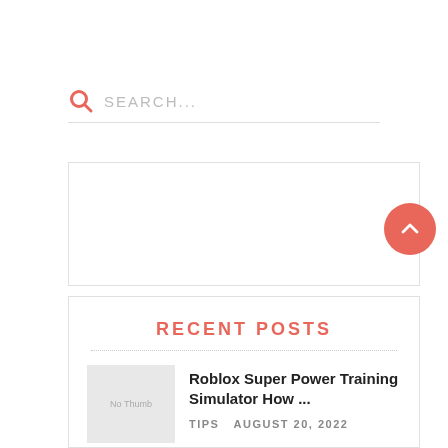[Figure (other): Search bar with magnifying glass icon in salmon/coral color and 'SEARCH...' placeholder text, with a horizontal line below]
[Figure (other): Empty advertisement/widget box with light gray border]
[Figure (other): Coral/salmon colored circle button with upward chevron arrow for scroll-to-top]
RECENT POSTS
[Figure (other): Thumbnail placeholder image labeled 'No Thumb']
Roblox Super Power Training Simulator How ...
TIPS    AUGUST 20, 2022